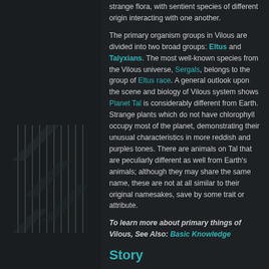[Figure (illustration): Dark left panel with decorative geometric line art / striped pattern in dark tones]
strange flora, with sentient species of different origin interacting with one another.

The primary organism groups in Vilous are divided into two broad groups: Eltus and Talyxians. The most well-known species from the Vilous universe, Sergals, belongs to the group of Eltus race. A general outlook upon the scene and biology of Vilous system shows Planet Tal is considerably different from Earth. Strange plants which do not have chlorophyll occupy most of the planet, demonstrating their unusual characteristics in more reddish and purples tones. There are animals on Tal that are peculiarly different as well from Earth's animals; although they may share the same name, these are not at all similar to their original namesakes, save by some trait or attribute.
To learn more about primary things of Vilous, See Also: Basic Knowledge
Story